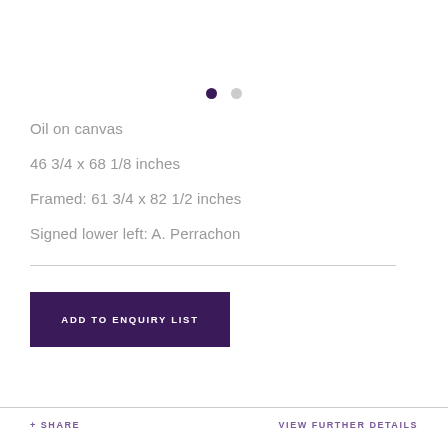[Figure (other): Carousel navigation dots: one filled dark purple dot and one light grey dot]
Oil on canvas
46 3/4 x 68 1/8 inches
Framed: 61 3/4 x 82 1/2 inches
Signed lower left: A. Perrachon
ADD TO ENQUIRY LIST
+ SHARE   VIEW FURTHER DETAILS